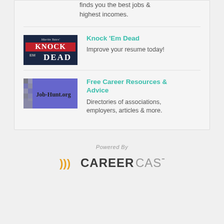finds you the best jobs & highest incomes.
[Figure (logo): Knock Em Dead book cover logo by Martin Yates — dark navy background with red and white text]
Knock 'Em Dead
Improve your resume today!
[Figure (logo): Job-Hunt.org logo — purple/blue background with monochrome mosaic border]
Free Career Resources & Advice
Directories of associations, employers, articles & more.
[Figure (logo): Powered By CareerCast logo — orange wave marks followed by CAREER in dark bold and CAST in grey]